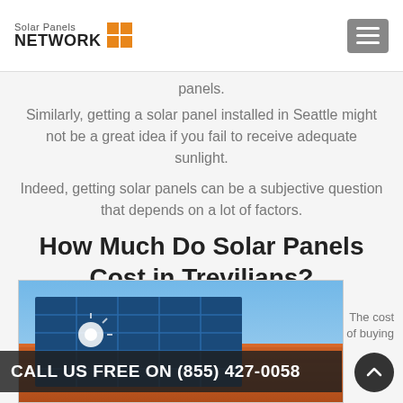Solar Panels NETWORK
panels.
Similarly, getting a solar panel installed in Seattle might not be a great idea if you fail to receive adequate sunlight.
Indeed, getting solar panels can be a subjective question that depends on a lot of factors.
How Much Do Solar Panels Cost in Trevilians?
[Figure (photo): Photo of solar panels installed on an orange/terracotta tiled roof against a blue sky, with sunlight glinting off the panels.]
The cost of buying
CALL US FREE ON (855) 427-0058